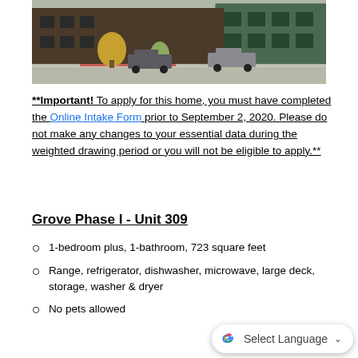[Figure (photo): Exterior photo of a modern apartment building with brown/dark siding and green accents, trees in front, pickup trucks parked on the street.]
**Important! To apply for this home, you must have completed the Online Intake Form prior to September 2, 2020. Please do not make any changes to your essential data during the weighted drawing period or you will not be eligible to apply.**
Grove Phase I - Unit 309
1-bedroom plus, 1-bathroom, 723 square feet
Range, refrigerator, dishwasher, microwave, large deck, storage, washer & dryer
No pets allowed